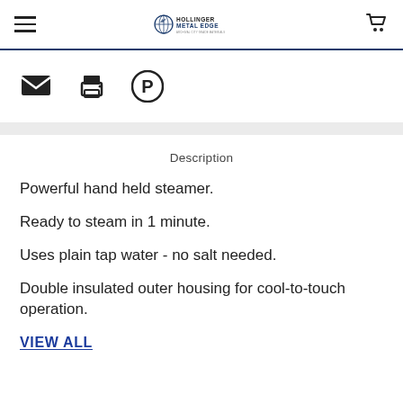Hollinger Metal Edge — navigation bar with hamburger menu, logo, and cart icon
[Figure (other): Three share icons: email (envelope), print (printer), Pinterest (P circle)]
Description
Powerful hand held steamer.
Ready to steam in 1 minute.
Uses plain tap water - no salt needed.
Double insulated outer housing for cool-to-touch operation.
VIEW ALL